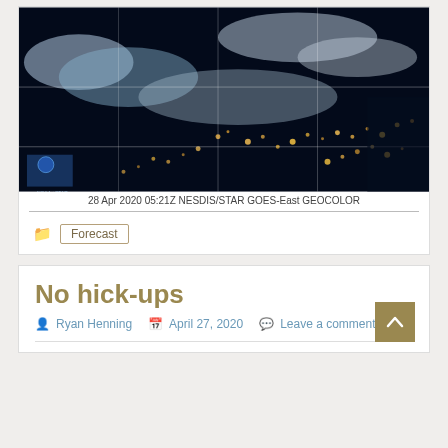[Figure (photo): Satellite image from NOAA GOES-East GEOCOLOR showing nighttime view of eastern United States with city lights and cloud cover]
28 Apr 2020 05:21Z NESDIS/STAR GOES-East GEOCOLOR
Forecast
No hick-ups
Ryan Henning   April 27, 2020   Leave a comment